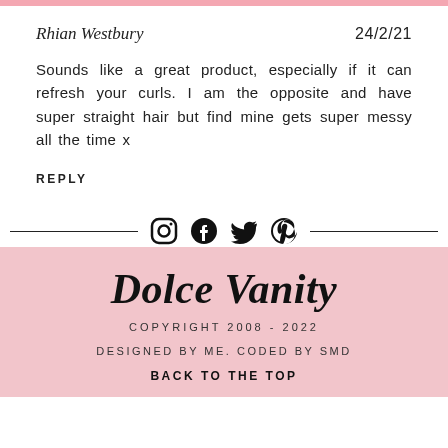Rhian Westbury
24/2/21
Sounds like a great product, especially if it can refresh your curls. I am the opposite and have super straight hair but find mine gets super messy all the time x
REPLY
[Figure (infographic): Social media icons: Instagram, Facebook, Twitter, Pinterest with horizontal divider lines on either side]
Dolce Vanity
COPYRIGHT 2008 - 2022
DESIGNED BY ME. CODED BY SMD
BACK TO THE TOP